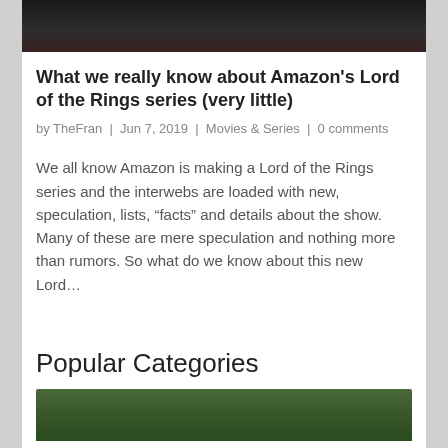[Figure (photo): Top portion of a dark cinematic image, appears to be a dark fantasy scene with reddish glowing element]
What we really know about Amazon's Lord of the Rings series (very little)
by TheFran | Jun 7, 2019 | Movies & Series | 0 comments
We all know Amazon is making a Lord of the Rings series and the interwebs are loaded with new, speculation, lists, “facts” and details about the show. Many of these are mere speculation and nothing more than rumors. So what do we know about this new Lord…
Popular Categories
[Figure (photo): Bottom portion of page showing a person's face from a movie or TV show, dark hair, green background]